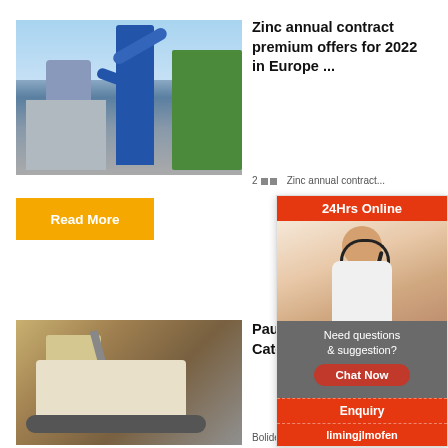[Figure (photo): Industrial zinc processing plant with blue tower, pipes, and silos against a partly cloudy sky with green vegetation in background]
Zinc annual contract premium offers for 2022 in Europe ...
2 □□   Zinc annual contract...
Read More
[Figure (photo): Mining excavator/crusher machine at an open pit mine with rocky terrain in background]
Paul C. Procure Category Boliden
Boliden, O...
[Figure (infographic): 24Hrs Online customer support chat widget with headset woman photo, Need questions & suggestion, Chat Now button, Enquiry, limingjlmofen]